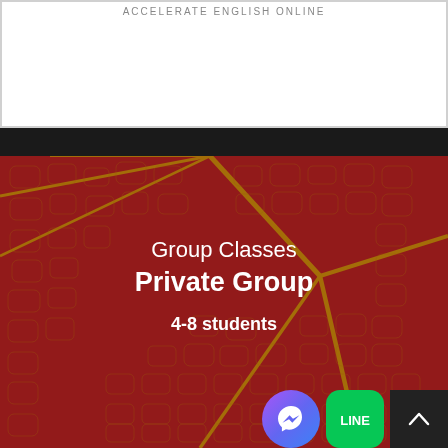ACCELERATE ENGLISH ONLINE
[Figure (photo): Close-up photo of a red leaf with prominent golden-brown veins forming a network pattern across the surface. Text overlay reads 'Group Classes', 'Private Group', and '4-8 students' in white.]
Group Classes
Private Group
4-8 students